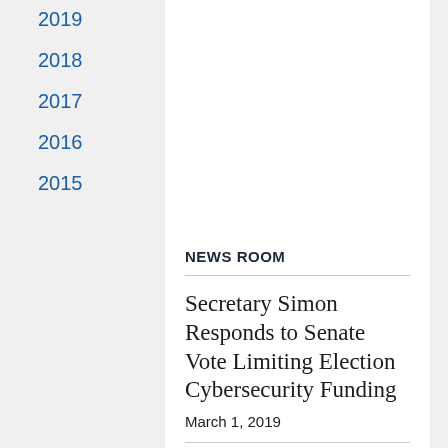2019
2018
2017
2016
2015
NEWS ROOM
Secretary Simon Responds to Senate Vote Limiting Election Cybersecurity Funding
March 1, 2019
SAINT PAUL — Minnesota Secretary of State Steve Simon released the following statement in response to the Senate